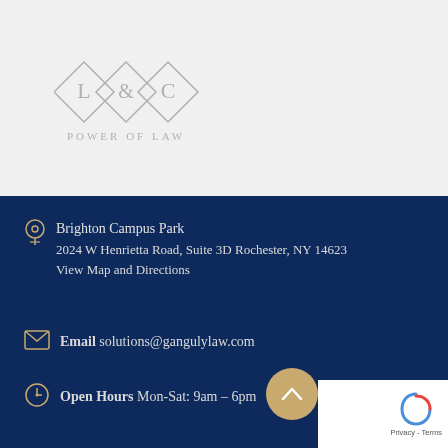[Figure (logo): L&C Power of Law logo with diamond shapes containing letters L, &, C above text POWER OF LAW]
Brighton Campus Park
2024 W Henrietta Road, Suite 3D Rochester, NY 14623
View Map and Directions
Email solutions@gangulylaw.com
Open Hours Mon-Sat: 9am – 6pm